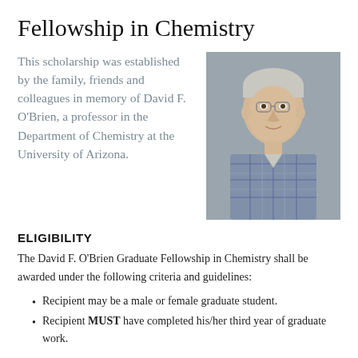Fellowship in Chemistry
This scholarship was established by the family, friends and colleagues in memory of David F. O'Brien, a professor in the Department of Chemistry at the University of Arizona.
[Figure (photo): Portrait photo of David F. O'Brien, an elderly man with white hair and glasses, wearing a plaid shirt, against a grey background.]
ELIGIBILITY
The David F. O'Brien Graduate Fellowship in Chemistry shall be awarded under the following criteria and guidelines:
Recipient may be a male or female graduate student.
Recipient MUST have completed his/her third year of graduate work.